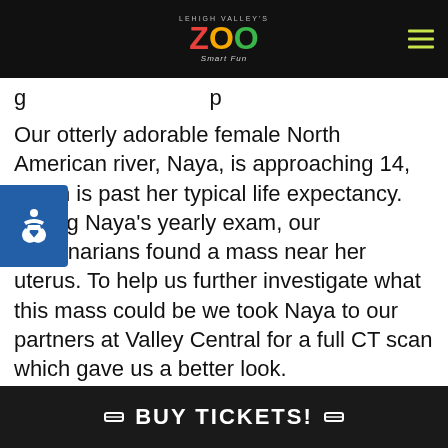Lehigh Valley's Zoo — Smart Fun
g ... p
Our otterly adorable female North American river otter, Naya, is approaching 14, which is past her typical life expectancy. During Naya's yearly exam, our veterinarians found a mass near her uterus. To help us further investigate what this mass could be we took Naya to our partners at Valley Central for a full CT scan which gave us a better look.
The surgical team at Valley Central was then able to assist our staff veterinarians Dr. Householder and Dr. Prevolos with removing the mass so we can send off samples to determine what other treatments may be available. Naya is now recovering comfortably behind the scenes